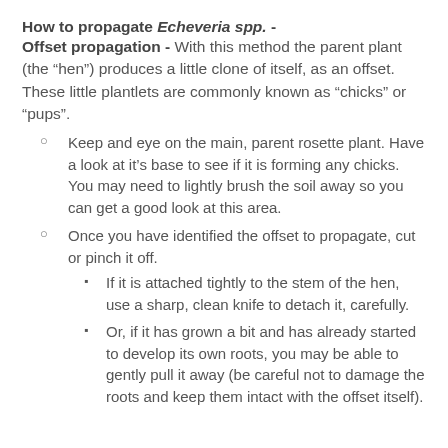How to propagate Echeveria spp. -
Offset propagation - With this method the parent plant (the “hen”) produces a little clone of itself, as an offset. These little plantlets are commonly known as “chicks” or “pups”.
Keep and eye on the main, parent rosette plant. Have a look at it’s base to see if it is forming any chicks. You may need to lightly brush the soil away so you can get a good look at this area.
Once you have identified the offset to propagate, cut or pinch it off.
If it is attached tightly to the stem of the hen, use a sharp, clean knife to detach it, carefully.
Or, if it has grown a bit and has already started to develop its own roots, you may be able to gently pull it away (be careful not to damage the roots and keep them intact with the offset itself).